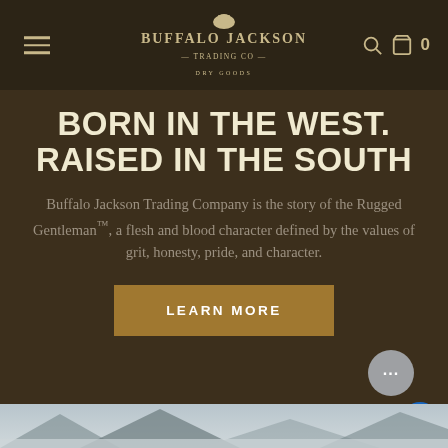[Figure (logo): Buffalo Jackson Trading Co. Dry Goods logo with bison icon in dark brown navigation bar]
BORN IN THE WEST. RAISED IN THE SOUTH
Buffalo Jackson Trading Company is the story of the Rugged Gentleman™, a flesh and blood character defined by the values of grit, honesty, pride, and character.
LEARN MORE